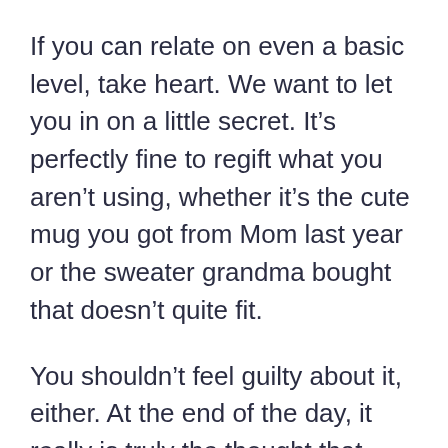If you can relate on even a basic level, take heart. We want to let you in on a little secret. It's perfectly fine to regift what you aren't using, whether it's the cute mug you got from Mom last year or the sweater grandma bought that doesn't quite fit.
You shouldn't feel guilty about it, either. At the end of the day, it really is truly the thought that counts. Anyone who loves you won't want you to go into debt on their behalf.
There is, however, one catch – and it's a big one. You want to do your best to regift